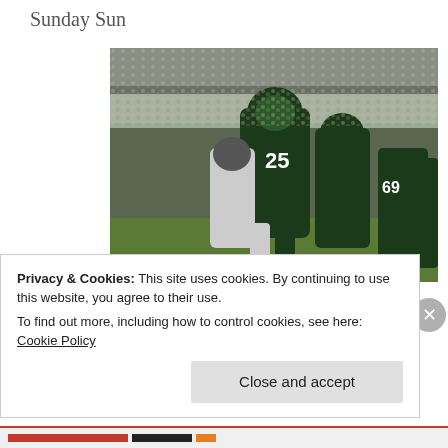Sunday Sun
[Figure (photo): Philadelphia Eagles players celebrating on the field during a game against the Chicago Bears. Player #25 (LeSean McCoy) is shown leaping in celebration, with teammates around him. A large stadium crowd is visible in the background.]
LeSean McCoy scores two touchdowns in win over the Bears. Photo by Webster Riddick.
Privacy & Cookies: This site uses cookies. By continuing to use this website, you agree to their use.
To find out more, including how to control cookies, see here: Cookie Policy
Close and accept